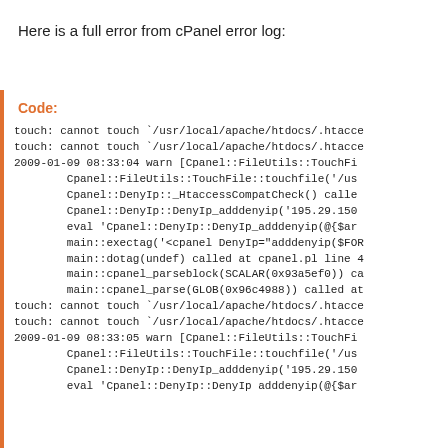Here is a full error from cPanel error log:
Code:

touch: cannot touch `/usr/local/apache/htdocs/.htacce
touch: cannot touch `/usr/local/apache/htdocs/.htacce
2009-01-09 08:33:04 warn [Cpanel::FileUtils::TouchFi
        Cpanel::FileUtils::TouchFile::touchfile('/us
        Cpanel::DenyIp::_HtaccessCompatCheck() calle
        Cpanel::DenyIp::DenyIp_adddenyip('195.29.150
        eval 'Cpanel::DenyIp::DenyIp_adddenyip(@{$ar
        main::exectag('<cpanel DenyIp="adddenyip($FOR
        main::dotag(undef) called at cpanel.pl line 4
        main::cpanel_parseblock(SCALAR(0x93a5ef0)) ca
        main::cpanel_parse(GLOB(0x96c4988)) called at
touch: cannot touch `/usr/local/apache/htdocs/.htacce
touch: cannot touch `/usr/local/apache/htdocs/.htacce
2009-01-09 08:33:05 warn [Cpanel::FileUtils::TouchFi
        Cpanel::FileUtils::TouchFile::touchfile('/us
        Cpanel::DenyIp::DenyIp_adddenyip('195.29.150
        eval 'Cpanel::DenyIp::DenyIp adddenyip(@{$ar